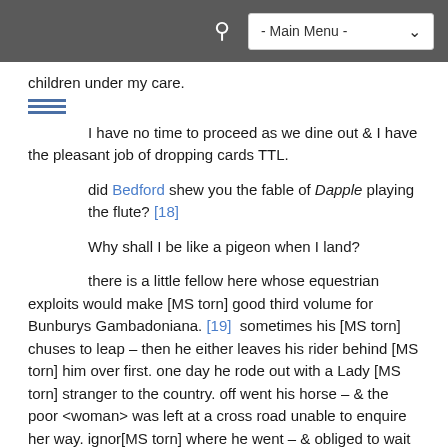- Main Menu -
children under my care.
I have no time to proceed as we dine out & I have the pleasant job of dropping cards TTL.
did Bedford shew you the fable of Dapple playing the flute? [18]
Why shall I be like a pigeon when I land?
there is a little fellow here whose equestrian exploits would make [MS torn] good third volume for Bunburys Gambadoniana. [19]  sometimes his [MS torn] chuses to leap – then he either leaves his rider behind [MS torn] him over first. one day he rode out with a Lady [MS torn] stranger to the country. off went his horse – & the poor <woman> was left at a cross road unable to enquire her way. ignor[MS torn] where he went – & obliged to wait there till the horse chose